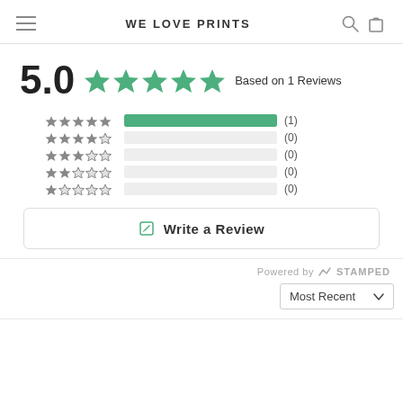WE LOVE PRINTS
[Figure (infographic): Rating summary showing 5.0 out of 5 stars based on 1 review, with a bar chart breakdown: 5-star (1), 4-star (0), 3-star (0), 2-star (0), 1-star (0)]
Write a Review
Powered by STAMPED
Most Recent